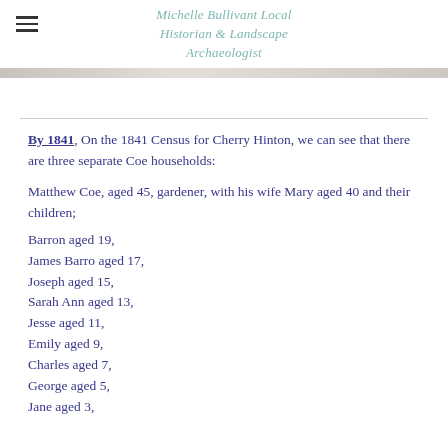Michelle Bullivant Local Historian & Landscape Archaeologist
By 1841, On the 1841 Census for Cherry Hinton, we can see that there are three separate Coe households:
Matthew Coe, aged 45, gardener, with his wife Mary aged 40 and their children;
Barron aged 19,
James Barro aged 17,
Joseph aged 15,
Sarah Ann aged 13,
Jesse aged 11,
Emily aged 9,
Charles aged 7,
George aged 5,
Jane aged 3,